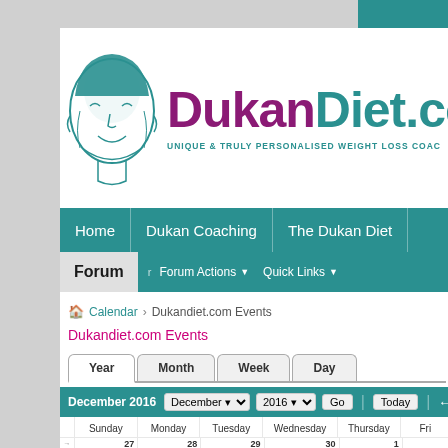[Figure (logo): DukanDiet.co.uk logo with illustrated face and tagline: UNIQUE & TRULY PERSONALISED WEIGHT LOSS COACHING]
Home | Dukan Coaching | The Dukan Diet | Forum | Forum Actions | Quick Links
Calendar > Dukandiet.com Events
Dukandiet.com Events
Year | Month | Week | Day
|  | Sunday | Monday | Tuesday | Wednesday | Thursday | Friday |
| --- | --- | --- | --- | --- | --- | --- |
| → | 27 | 28 | 29 | 30 | 1 |  |